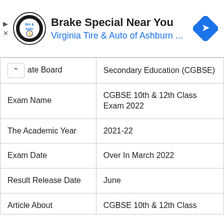[Figure (screenshot): Advertisement banner for Virginia Tire & Auto of Ashburn featuring logo, title 'Brake Special Near You', subtitle 'Virginia Tire & Auto of Ashburn ...', and a blue navigation arrow icon. Has play and close controls on the left.]
| ate Board | Secondary Education (CGBSE) |
| Exam Name | CGBSE 10th & 12th Class Exam 2022 |
| The Academic Year | 2021-22 |
| Exam Date | Over In March 2022 |
| Result Release Date | June |
| Article About | CGBSE 10th & 12th Class |